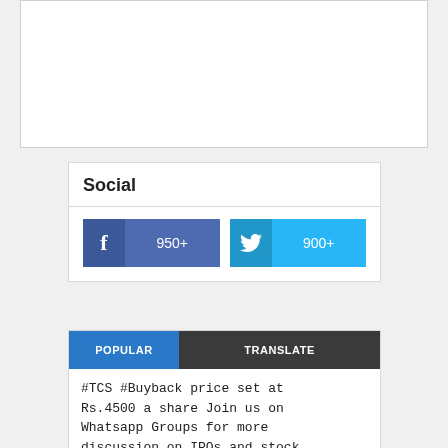[Figure (other): White rectangular placeholder box (advertisement or image area)]
Social
[Figure (infographic): Social media buttons: Facebook with 950+ fans and Twitter with 900+ followers]
POPULAR   TRANSLATE
#TCS #Buyback price set at Rs.4500 a share Join us on Whatsapp Groups for more discussion on IPOs and stock